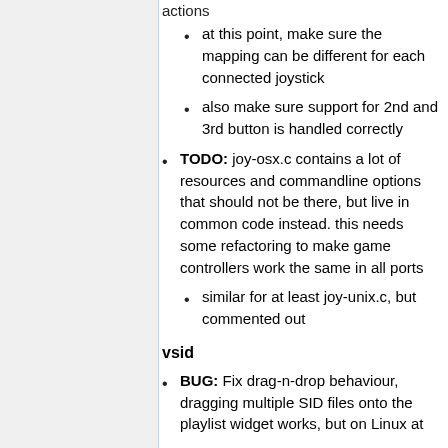at this point, make sure the mapping can be different for each connected joystick
also make sure support for 2nd and 3rd button is handled correctly
TODO: joy-osx.c contains a lot of resources and commandline options that should not be there, but live in common code instead. this needs some refactoring to make game controllers work the same in all ports
similar for at least joy-unix.c, but commented out
vsid
BUG: Fix drag-n-drop behaviour, dragging multiple SID files onto the playlist widget works, but on Linux at